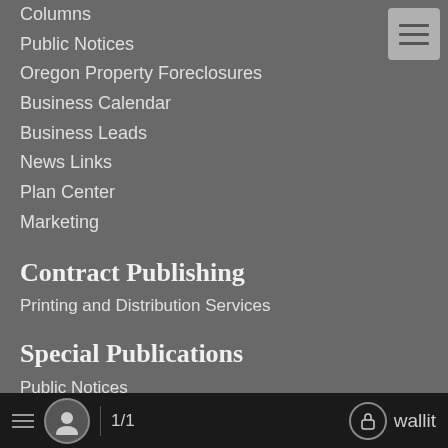Columns
Public Notices
Oregon Property Foreclosures
Business Calendar
Business Leads
News Links
Plan Center
Marketing
Contract Publishing
Printing and Distribution Services
Special Publications
Public Notices
Digital Advertising
Digital Marketing Solutions
Shop Local
1/1  wallit